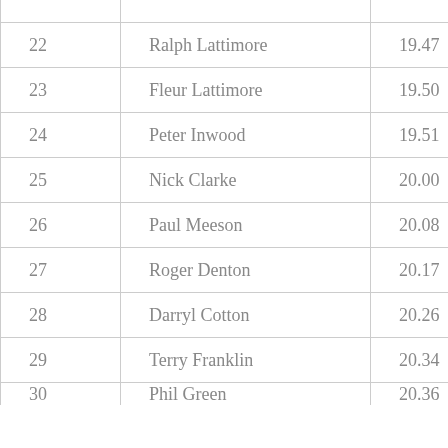| 22 | Ralph Lattimore | 19.47 |
| 23 | Fleur Lattimore | 19.50 |
| 24 | Peter Inwood | 19.51 |
| 25 | Nick Clarke | 20.00 |
| 26 | Paul Meeson | 20.08 |
| 27 | Roger Denton | 20.17 |
| 28 | Darryl Cotton | 20.26 |
| 29 | Terry Franklin | 20.34 |
| 30 | Phil Green | 20.36 |